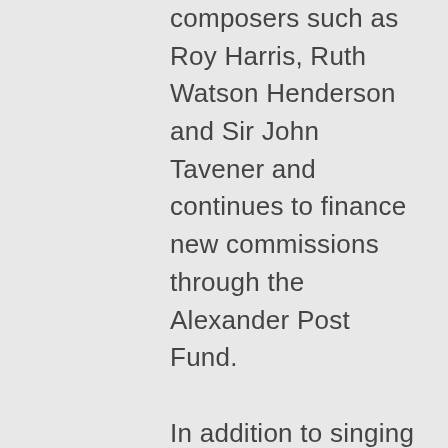composers such as Roy Harris, Ruth Watson Henderson and Sir John Tavener and continues to finance new commissions through the Alexander Post Fund.
In addition to singing regularly for church services, weddings, memorials, ordinations, etc., the choir has sung separate concerts, such as the entire Elijah by Mendelssohn. Segments of the choir also tour internationally most years